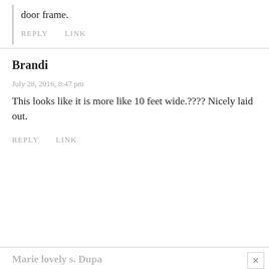door frame.
REPLY   LINK
Brandi
July 28, 2016, 8:47 pm
This looks like it is more like 10 feet wide.???? Nicely laid out.
REPLY   LINK
Marie lovely s. Dupa